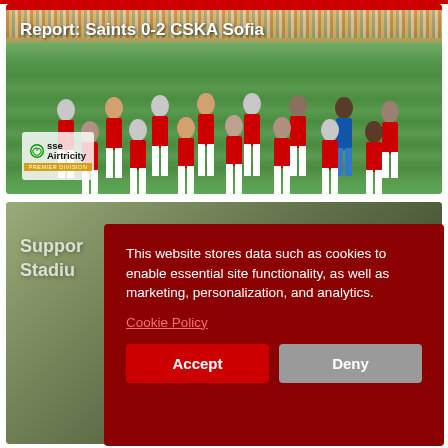[Figure (photo): Football team photo on pitch with stands/crowd in background. Team in red kits posed for team photo. SSE Airtricity Premier Division logo visible bottom left. Title overlay reads 'Report: Saints 0-2 CSKA Sofia']
Report: Saints 0-2 CSKA Sofia
[Figure (photo): Partially visible card showing stadium/supporter background with text 'Suppor... Stadiur...' behind cookie consent modal]
This website stores data such as cookies to enable essential site functionality, as well as marketing, personalization, and analytics.
Cookie Policy
Accept
Deny